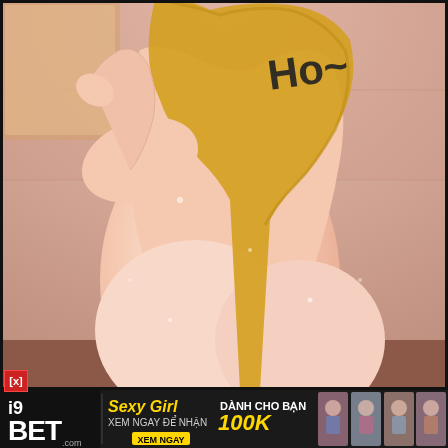[Figure (illustration): Anime/manga style illustration showing a female figure from behind in a bathroom setting with pink/warm toned walls. Sound effect text visible in upper right corner reading 'Ho~']
[Figure (advertisement): i9BET gambling advertisement banner with dark background. Logo on left showing 'i9 BET .com'. Center text: 'Sexy Girl DANH CHO BAN / XEM NGAY DE NHAN 100K / XEM NGAY button'. Right side shows photos of women in swimwear.]